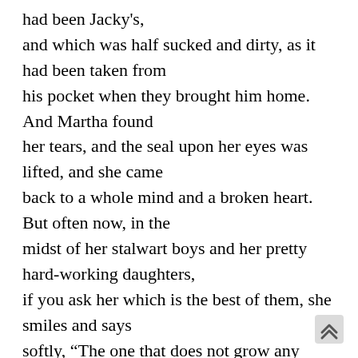had been Jacky's, and which was half sucked and dirty, as it had been taken from his pocket when they brought him home. And Martha found her tears, and the seal upon her eyes was lifted, and she came back to a whole mind and a broken heart. But often now, in the midst of her stalwart boys and her pretty hard-working daughters, if you ask her which is the best of them, she smiles and says softly, “The one that does not grow any older and never leave? my side,” and her eyes look over their shoulders to the yellow head she sees always near her, and the father